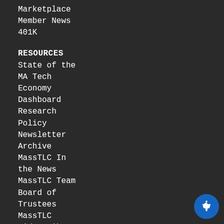Marketplace
Member News
401K
RESOURCES
State of the MA Tech Economy Dashboard
Research
Policy
Newsletter Archive
MassTLC In the News
MassTLC Team
Board of Trustees
MassTLC Video Library
PROGRAMS
MassTLC Events
Special